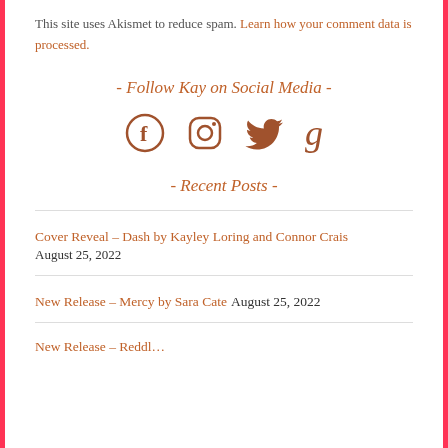This site uses Akismet to reduce spam. Learn how your comment data is processed.
- Follow Kay on Social Media -
[Figure (illustration): Social media icons: Facebook, Instagram, Twitter, Goodreads in brown/copper color]
- Recent Posts -
Cover Reveal – Dash by Kayley Loring and Connor Crais
August 25, 2022
New Release – Mercy by Sara Cate August 25, 2022
New Release – Reddleman by Tara… August 25